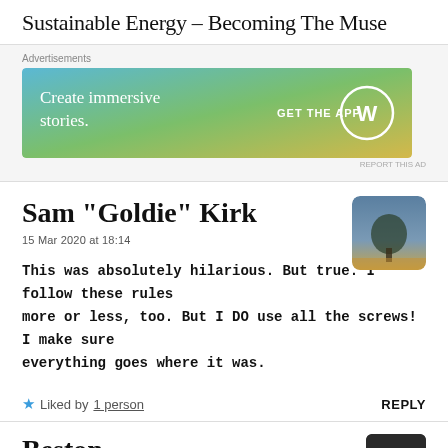Sustainable Energy – Becoming The Muse
[Figure (other): WordPress advertisement banner: 'Create immersive stories. GET THE APP' with WordPress logo on a blue-to-gold gradient background]
Sam "Goldie" Kirk
15 Mar 2020 at 18:14
This was absolutely hilarious. But true. I follow these rules more or less, too. But I DO use all the screws! I make sure everything goes where it was.
Liked by 1 person   REPLY
Beston